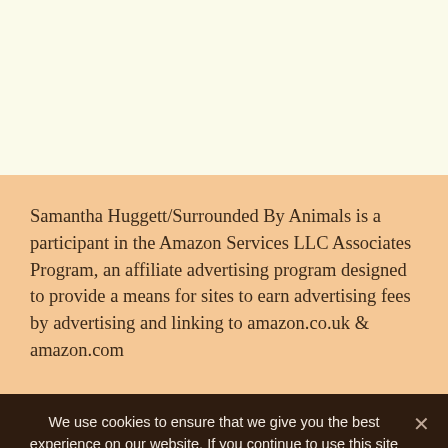Samantha Huggett/Surrounded By Animals is a participant in the Amazon Services LLC Associates Program, an affiliate advertising program designed to provide a means for sites to earn advertising fees by advertising and linking to amazon.co.uk & amazon.com
We use cookies to ensure that we give you the best experience on our website. If you continue to use this site we will assume that you are happy with it.